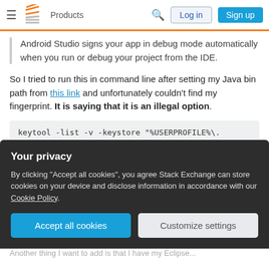Products | Log in | Sign up
Android Studio signs your app in debug mode automatically when you run or debug your project from the IDE.
So I tried to run this in command line after setting my Java bin path from this link and unfortunately couldn't find my fingerprint. It is saying that it is an illegal option.
keytool -list -v -keystore "%USERPROFILE%\.
Your privacy
By clicking "Accept all cookies", you agree Stack Exchange can store cookies on your device and disclose information in accordance with our Cookie Policy.
Another thing I want to add is that I have my Eclipse...